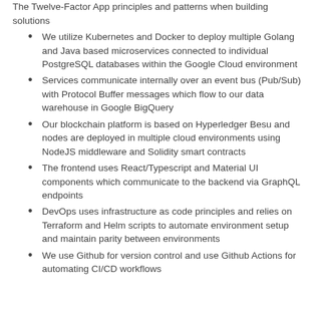The Twelve-Factor App principles and patterns when building solutions
We utilize Kubernetes and Docker to deploy multiple Golang and Java based microservices connected to individual PostgreSQL databases within the Google Cloud environment
Services communicate internally over an event bus (Pub/Sub) with Protocol Buffer messages which flow to our data warehouse in Google BigQuery
Our blockchain platform is based on Hyperledger Besu and nodes are deployed in multiple cloud environments using NodeJS middleware and Solidity smart contracts
The frontend uses React/Typescript and Material UI components which communicate to the backend via GraphQL endpoints
DevOps uses infrastructure as code principles and relies on Terraform and Helm scripts to automate environment setup and maintain parity between environments
We use Github for version control and use Github Actions for automating CI/CD workflows